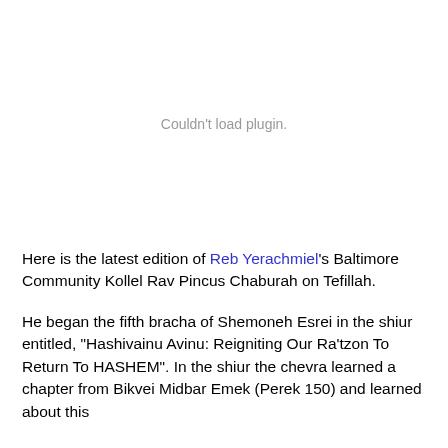[Figure (other): Plugin placeholder area showing 'Couldn't load plugin.' message]
Here is the latest edition of Reb Yerachmiel's Baltimore Community Kollel Rav Pincus Chaburah on Tefillah.
He began the fifth bracha of Shemoneh Esrei in the shiur entitled, "Hashivainu Avinu: Reigniting Our Ra'tzon To Return To HASHEM". In the shiur the chevra learned a chapter from Bikvei Midbar Emek (Perek 150) and much more this...